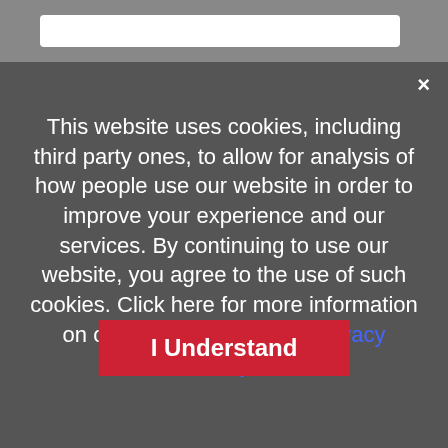[Figure (screenshot): Top browser chrome bar with grey background and white address bar input]
This website uses cookies, including third party ones, to allow for analysis of how people use our website in order to improve your experience and our services. By continuing to use our website, you agree to the use of such cookies. Click here for more information on our Cookie Policy and Privacy Policy.
I Understand